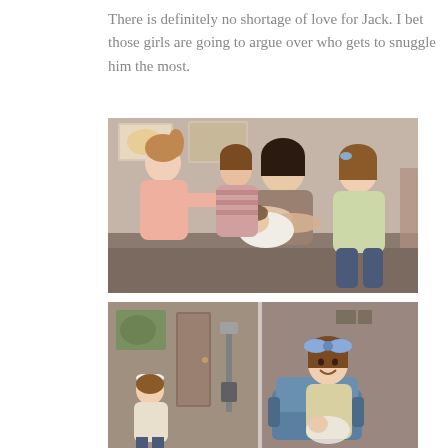There is definitely no shortage of love for Jack. I bet those girls are going to argue over who gets to snuggle him the most.
[Figure (photo): A mother sits holding a newborn baby wrapped in white, while three young girls lean in close to look at the baby. One girl in pink on the left leans over, a toddler in the middle leans in close, and an older girl in green on the right watches. The setting appears to be a hospital room.]
[Figure (photo): Two-panel photo taken in a hospital room. Left panel shows a small child sitting with a white bow in hair. Right panel shows a young girl with a large blue bow in her hair, smiling, sitting in a blue chair holding or near the newborn baby.]